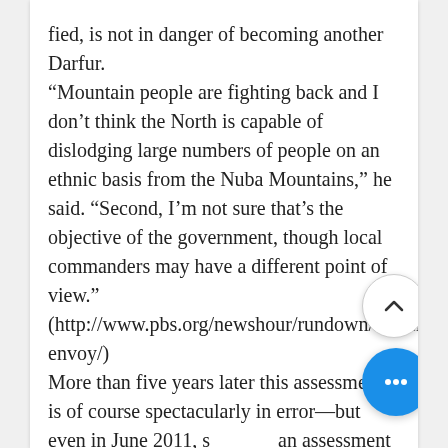fied, is not in danger of becoming another Darfur. “Mountain people are fighting back and I don’t think the North is capable of dislodging large numbers of people on an ethnic basis from the Nuba Mountains,” he said. “Second, I’m not sure that’s the objective of the government, though local commanders may have a different point of view.” (http://www.pbs.org/newshour/rundown/sudan-envoy/) More than five years later this assessment is of course spectacularly in error—but even in June 2011, such an assessment required that Lyman overlook a host of evidence, including that in the UN report (to which he had access, at least of preliminary